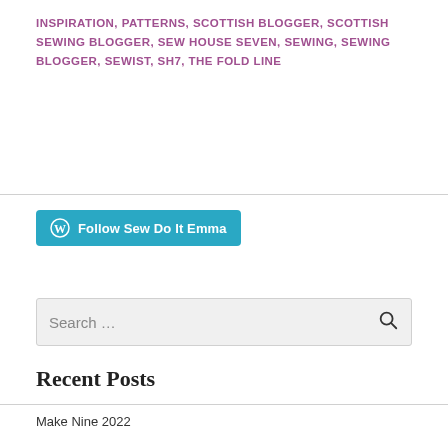INSPIRATION, PATTERNS, SCOTTISH BLOGGER, SCOTTISH SEWING BLOGGER, SEW HOUSE SEVEN, SEWING, SEWING BLOGGER, SEWIST, SH7, THE FOLD LINE
[Figure (other): Follow Sew Do It Emma button with WordPress logo]
[Figure (other): Search box with search icon]
Recent Posts
Make Nine 2022